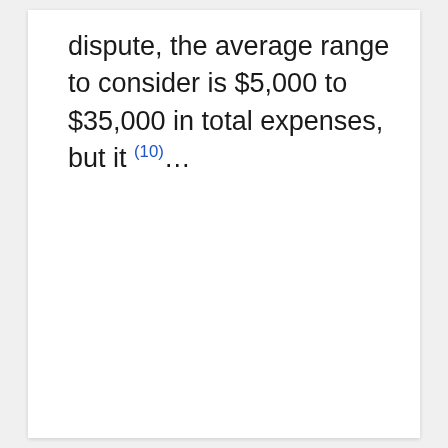dispute, the average range to consider is $5,000 to $35,000 in total expenses, but it (10)...